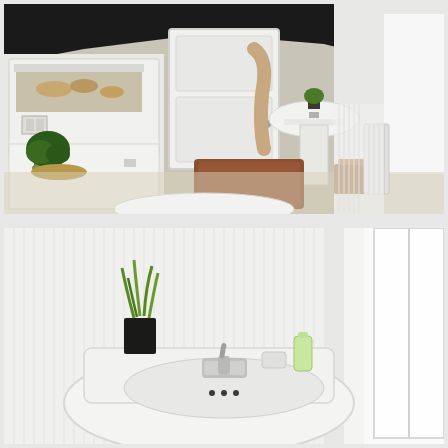[Figure (photo): Interior bathroom photo showing a narrow bathroom with black painted ceiling and upper walls, white wainscoting/cabinetry along the left wall with built-in shelves holding decorative items and a bonsai tree, a white paneled door at the far end, a beige towel hanging on hooks, light wood laminate flooring, a brown bath mat, a white pedestal sink on the right side with a small potted green plant on top, a wooden caddy/box on the floor near the radiator, and the top of a white toilet visible in the foreground.]
[Figure (photo): Close-up photo of a white pedestal sink from above, showing chrome faucet handles and spout, a black potted grass plant on the left side of the sink ledge, a green decorative bottle on the right, a bright window on the right side, and white beadboard walls in the background.]